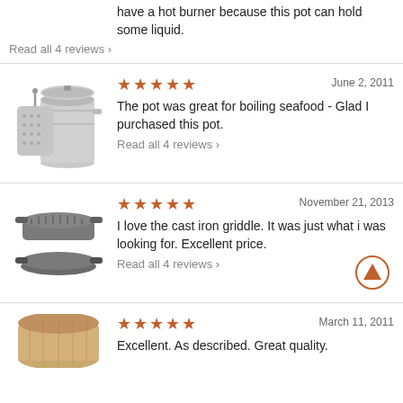have a hot burner because this pot can hold some liquid.
Read all 4 reviews ›
[Figure (photo): Stainless steel stockpot with perforated strainer basket and lid]
★★★★★
June 2, 2011
The pot was great for boiling seafood - Glad I purchased this pot.
Read all 4 reviews ›
[Figure (photo): Cast iron griddle, round, dark gray with textured surface]
★★★★★
November 21, 2013
I love the cast iron griddle. It was just what i was looking for. Excellent price.
Read all 4 reviews ›
[Figure (photo): Partial view of a wooden or bamboo product at bottom of page]
★★★★★
March 11, 2011
Excellent. As described. Great quality.